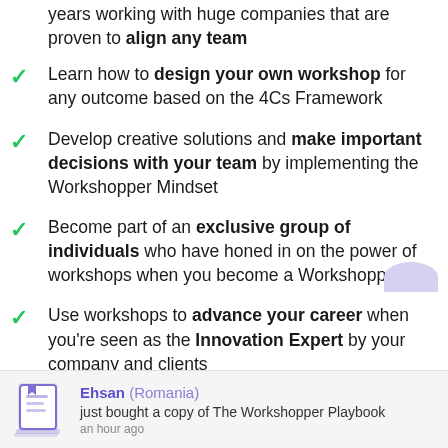years working with huge companies that are proven to align any team
Learn how to design your own workshop for any outcome based on the 4Cs Framework
Develop creative solutions and make important decisions with your team by implementing the Workshopper Mindset
Become part of an exclusive group of individuals who have honed in on the power of workshops when you become a Workshopper
Use workshops to advance your career when you're seen as the Innovation Expert by your company and clients
Ehsan (Romania) just bought a copy of The Workshopper Playbook an hour ago